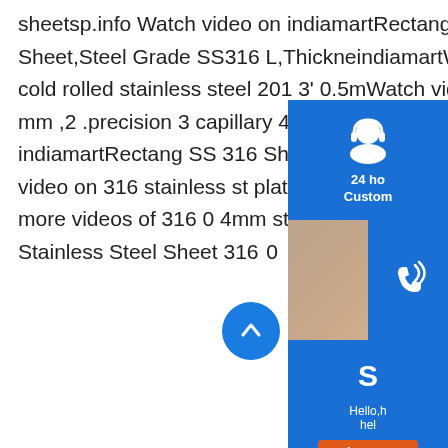sheetsp.info Watch video on indiamartRectangular Plate 316 Stainless Steel Sheet,Steel Grade SS316 L,ThickneindiamartWatch video on 0.5mm 304 304L cold rolled stainless steel 201 3' 0.5mWatch video on alieSS Stainless Steel 0.1 mm ,2 .precision 3 capillary 4 Square 5 seamalieWatch video on indiamartRectangular SS 316 Sheet,Steel Grade SS316 L,Thickness 1indiamartWatch video on 316 stainless steel plate,View 316 stainless steel sheet price,HY ProdSee more videos of 316 0 4mm stainless steel sheet300 Series Grade 0.4mm Stainless Steel Sheet 316 0
[Figure (screenshot): UI overlay with customer service panels: 24h Customer Support (blue icon), phone support with agent photo, Skype chat (blue S icon) with Hello/help message and Chat Now button, and a Reply button at the bottom. Also a scroll-up arrow button.]